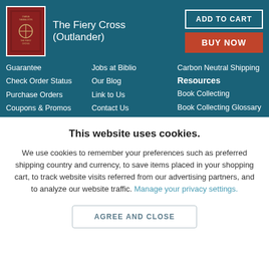[Figure (illustration): Book cover for The Fiery Cross (Outlander) with dark red background]
The Fiery Cross (Outlander)
Guarantee
Check Order Status
Purchase Orders
Coupons & Promos
Affiliate Program
Help & FAQs
Jobs at Biblio
Our Blog
Link to Us
Contact Us
Carbon Neutral Shipping
Resources
Book Collecting
Book Collecting Glossary
This website uses cookies.
We use cookies to remember your preferences such as preferred shipping country and currency, to save items placed in your shopping cart, to track website visits referred from our advertising partners, and to analyze our website traffic. Manage your privacy settings.